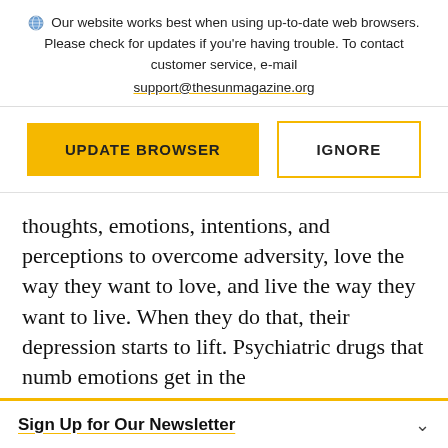Our website works best when using up-to-date web browsers. Please check for updates if you're having trouble. To contact customer service, e-mail support@thesunmagazine.org
[Figure (other): Two buttons: a yellow filled button labeled UPDATE BROWSER and a yellow-outlined button labeled IGNORE]
thoughts, emotions, intentions, and perceptions to overcome adversity, love the way they want to love, and live the way they want to live. When they do that, their depression starts to lift. Psychiatric drugs that numb emotions get in the
Sign Up for Our Newsletter